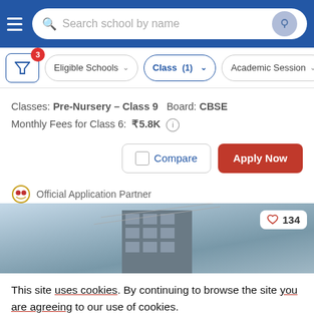Search school by name
Eligible Schools | Class (1) | Academic Session
Classes: Pre-Nursery - Class 9   Board: CBSE
Monthly Fees for Class 6: ₹5.8K
Compare | Apply Now
Official Application Partner
[Figure (photo): Photo of a multi-storey school building from a low angle against a hazy sky, with power lines visible. A heart/like badge shows 134 in the top right corner.]
This site uses cookies. By continuing to browse the site you are agreeing to our use of cookies.
This will help to provide better user experience.
Ok, I Understand